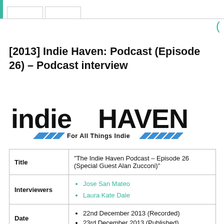[2013] Indie Haven: Podcast (Episode 26) – Podcast interview
[Figure (logo): Indie Haven logo — large bold 'indie HAVEN' text with tagline 'For All Things Indie' and blue diagonal stripe accents]
|  |  |
| --- | --- |
| Title | “The Indie Haven Podcast – Episode 26 (Special Guest Alan Zucconi)” |
| Interviewers | Jose San Mateo
Laura Kate Dale |
| Date | 22nd December 2013 (Recorded)
23rd December 2013 (Published) |